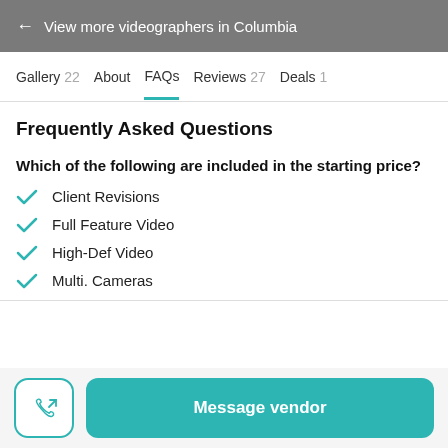← View more videographers in Columbia
Gallery 22   About   FAQs   Reviews 27   Deals 1
Frequently Asked Questions
Which of the following are included in the starting price?
Client Revisions
Full Feature Video
High-Def Video
Multi. Cameras
Message vendor